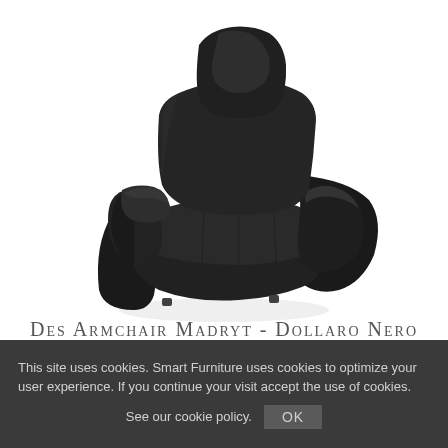[Figure (photo): Black leather armchair named Des Armchair Madryt - Dollaro Nero, photographed on white background at a three-quarter angle, showing padded seat, high back, wide curved armrests, and modern silhouette.]
Des Armchair Madryt - Dollaro Nero
1999 CAD +tax
This site uses cookies. Smart Furniture uses cookies to optimize your user experience. If you continue your visit accept the use of cookies.
See our cookie policy.
OK